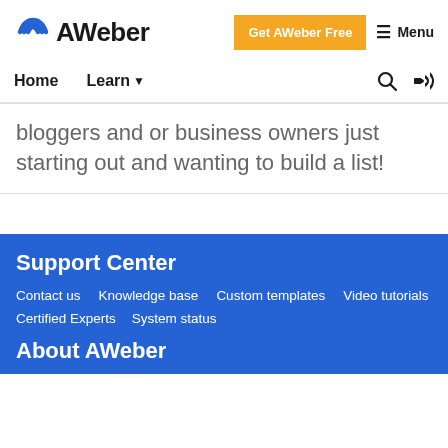[Figure (logo): AWeber logo with blue circular wave icon and bold AWeber text]
Get AWeber Free  ≡ Menu
Home  Learn ▾  🔍  RSS
bloggers and or business owners just starting out and wanting to build a list!
Support Center
Contact us   Knowledge base   Custom templates   Video tutorials   Certified Experts   System status
About AWeber